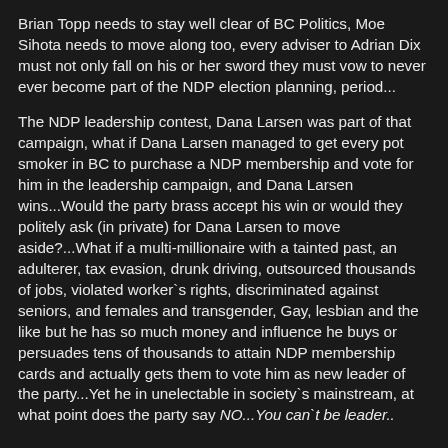Brian Topp needs to stay well clear of BC Politics, Moe Sihota needs to move along too, every adviser to Adrian Dix must not only fall on his or her sword they must vow to never ever become part of the NDP election planning, period...
The NDP leadership contest, Dana Larsen was part of that campaign, what if Dana Larsen managed to get every pot smoker in BC to purchase a NDP membership and vote for him in the leadership campaign, and Dana Larsen wins...Would the party brass accept his win or would they politely ask (in private) for Dana Larsen to move aside?...What if a multi-millionaire with a tainted past, an adulterer, tax evasion, drunk driving, outsourced thousands of jobs, violated worker`s rights, discriminated against seniors, and females and transgender, Gay, lesbian and the like but he has so much money and influence he buys or persuades tens of thousands to attain NDP membership cards and actually gets them to vote him as new leader of the party...Yet he in unelectable in society`s mainstream, at what point does the party say NO...You can`t be leader..